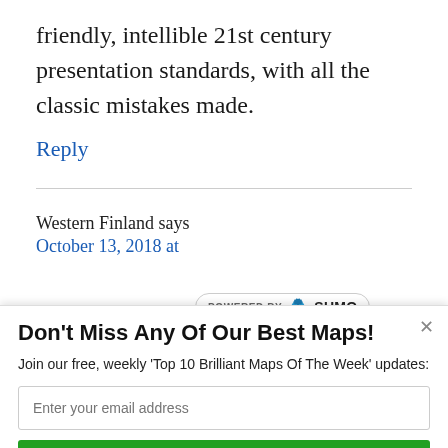friendly, intellible 21st century presentation standards, with all the classic mistakes made.
Reply
Western Finland says
October 13, 2018 at
[Figure (logo): POWERED BY SUMO badge with bird logo]
Don't Miss Any Of Our Best Maps!
Join our free, weekly 'Top 10 Brilliant Maps Of The Week' updates:
Enter your email address
Yes, Send Me More Brilliant Maps